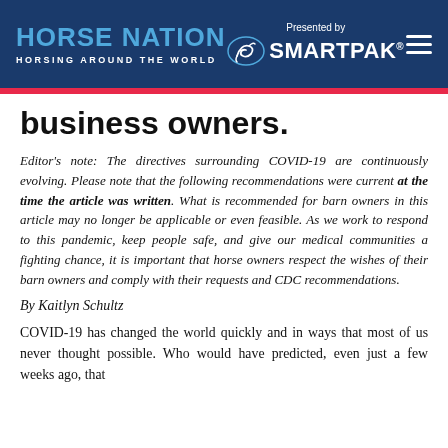HORSE NATION — HORSING AROUND THE WORLD | Presented by SmartPak
business owners.
Editor's note: The directives surrounding COVID-19 are continuously evolving. Please note that the following recommendations were current at the time the article was written. What is recommended for barn owners in this article may no longer be applicable or even feasible. As we work to respond to this pandemic, keep people safe, and give our medical communities a fighting chance, it is important that horse owners respect the wishes of their barn owners and comply with their requests and CDC recommendations.
By Kaitlyn Schultz
COVID-19 has changed the world quickly and in ways that most of us never thought possible. Who would have predicted, even just a few weeks ago, that